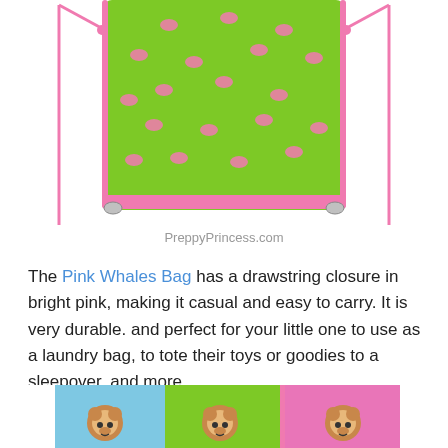[Figure (photo): Green drawstring bag with pink whale pattern and pink drawstring cords, shown from the front, partial top view]
PreppyPrincess.com
The Pink Whales Bag has a drawstring closure in bright pink, making it casual and easy to carry. It is very durable. and perfect for your little one to use as a laundry bag, to tote their toys or goodies to a sleepover, and more.
[Figure (photo): Three drawstring bags side by side: blue, green, and pink, each featuring a cartoon monkey face pattern, partially cropped at bottom]